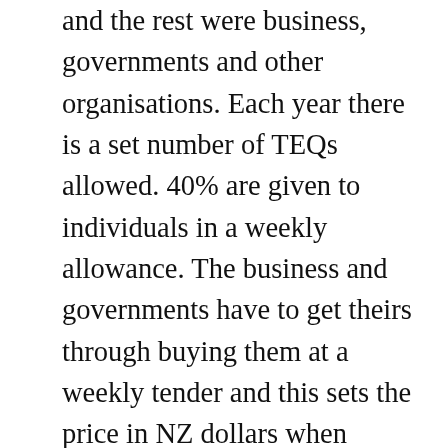and the rest were business, governments and other organisations. Each year there is a set number of TEQs allowed. 40% are given to individuals in a weekly allowance. The business and governments have to get theirs through buying them at a weekly tender and this sets the price in NZ dollars when people come to trade them. Through a market, heavy users will be able to buy TEQs from low users. Buying and selling is as easy as topping up a mobile phone or Snapper  or HOP